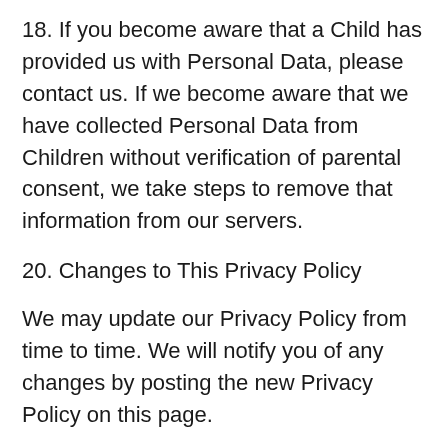18. If you become aware that a Child has provided us with Personal Data, please contact us. If we become aware that we have collected Personal Data from Children without verification of parental consent, we take steps to remove that information from our servers.
20. Changes to This Privacy Policy
We may update our Privacy Policy from time to time. We will notify you of any changes by posting the new Privacy Policy on this page.
We will let you know via email and/or a prominent notice on our Service, prior to the change becoming effective and update “effective date” at the top of this Privacy